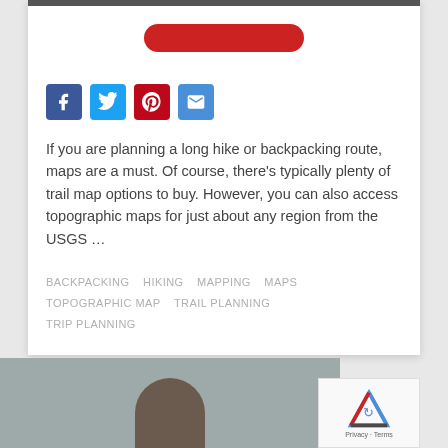[Figure (other): Social share buttons: Facebook (blue), Twitter (cyan), Pinterest (red), Email (blue)]
If you are planning a long hike or backpacking route, maps are a must. Of course, there's typically plenty of trail map options to buy. However, you can also access topographic maps for just about any region from the USGS …
BACKPACKING   HIKING   MAPPING   MAPS   TOPOGRAPHIC MAP   TRAIL PLANNING   TRIP PLANNING
[Figure (photo): Partial photo of a person outdoors with overcast sky background, with reCAPTCHA widget overlay showing Privacy · Terms]